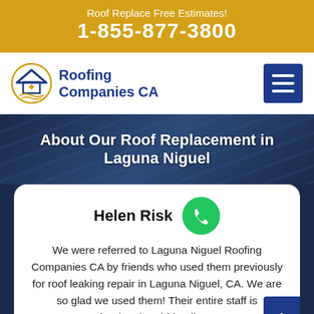Roof Replace Free Estimates!
1-855-877-3800
[Figure (logo): Roofing Companies CA logo with house and sun icon]
About Our Roof Replacement in Laguna Niguel
Helen Risk
We were referred to Laguna Niguel Roofing Companies CA by friends who used them previously for roof leaking repair in Laguna Niguel, CA. We are so glad we used them! Their entire staff is professional and friendly! Most